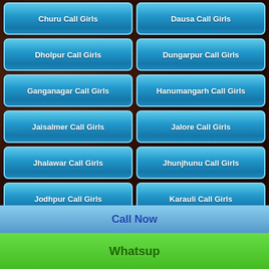Churu Call Girls
Dausa Call Girls
Dholpur Call Girls
Dungarpur Call Girls
Ganganagar Call Girls
Hanumangarh Call Girls
Jaisalmer Call Girls
Jalore Call Girls
Jhalawar Call Girls
Jhunjhunu Call Girls
Jodhpur Call Girls
Karauli Call Girls
Kota Call Girls
Nagaur Call Girls
Pali Call Girls
Pratapgarh Call Girls
Rajsamand Call Girls
Sawai Madhopur Call Girls
Sikar Call Girls
Sirohi Call Girls
Tonk Call Girls
Udaipur Call Girls
Ambala Call Girls
Bhiwani Call Girls
Faridabad Call Girls
Fatehabad Call Girls
Call Now
Whatsup